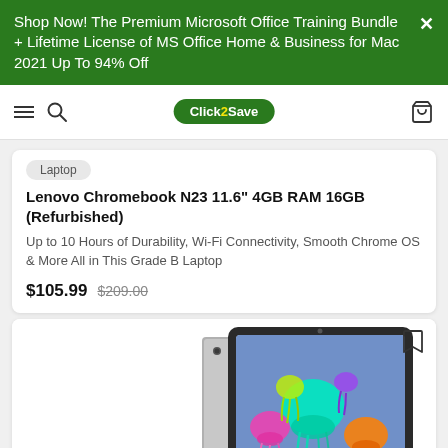Shop Now! The Premium Microsoft Office Training Bundle + Lifetime License of MS Office Home & Business for Mac 2021 Up To 94% Off
Click 2 Save — navigation bar with hamburger menu, search icon, logo, cart icon
Laptop
Lenovo Chromebook N23 11.6" 4GB RAM 16GB (Refurbished)
Up to 10 Hours of Durability, Wi-Fi Connectivity, Smooth Chrome OS & More All in This Grade B Laptop
$105.99  $209.00
[Figure (photo): Apple iPad shown from two angles — back/side view and front screen view displaying colorful jellyfish artwork on a light blue/purple background. Device is space gray.]